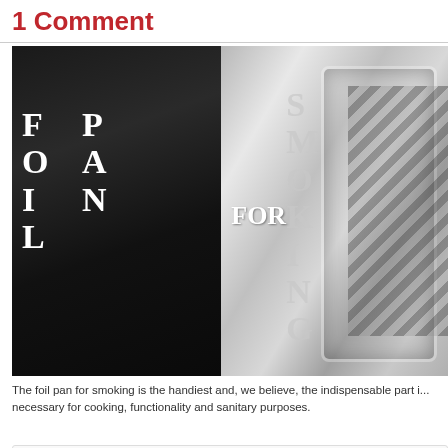1 Comment
[Figure (photo): Photo of foil pans for smoking. Left pan is dark/black with white text reading 'FOIL PAN' vertically. Center shows 'FOR' in white text. Right pan is silver/metallic with faded text reading 'SMOKING' vertically.]
The foil pan for smoking is the handiest and, we believe, the indispensable part i... necessary for cooking, functionality and sanitary purposes.
The foil pan for smoking is indispensable, and why!